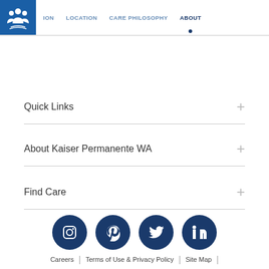[Figure (logo): Kaiser Permanente logo - white figures on blue background]
ION   LOCATION   CARE PHILOSOPHY   ABOUT
Quick Links
About Kaiser Permanente WA
Find Care
[Figure (infographic): Four social media icons in dark navy circles: Instagram, Pinterest, Twitter, LinkedIn]
Careers | Terms of Use & Privacy Policy | Site Map |